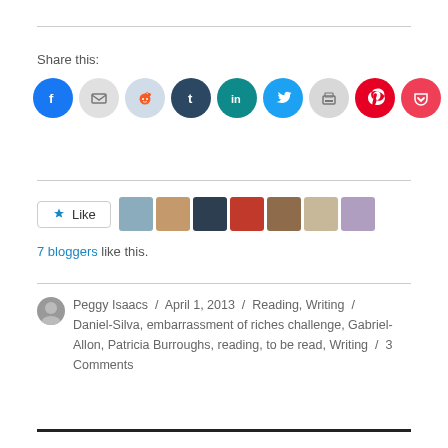Share this:
[Figure (infographic): Row of social sharing icon buttons: Facebook (blue), Email (gray), Reddit (light blue/gray), Tumblr (dark navy), LinkedIn (teal), Twitter (blue), Print (gray), Pinterest (red), Pocket (red)]
[Figure (infographic): Like button with star icon and 7 blogger avatar thumbnails]
7 bloggers like this.
Peggy Isaacs / April 1, 2013 / Reading, Writing / Daniel-Silva, embarrassment of riches challenge, Gabriel-Allon, Patricia Burroughs, reading, to be read, Writing / 3 Comments